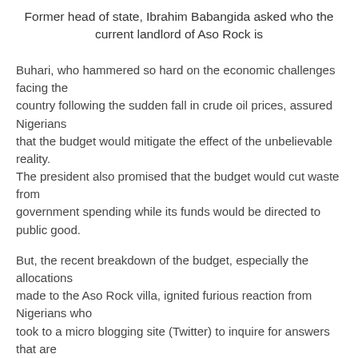Former head of state, Ibrahim Babangida asked who the current landlord of Aso Rock is
Buhari, who hammered so hard on the economic challenges facing the country following the sudden fall in crude oil prices, assured Nigerians that the budget would mitigate the effect of the unbelievable reality. The president also promised that the budget would cut waste from government spending while its funds would be directed to public good.
But, the recent breakdown of the budget, especially the allocations made to the Aso Rock villa, ignited furious reaction from Nigerians who took to a micro blogging site (Twitter) to inquire for answers that are still in the pipeline. Some described the budget as a collection